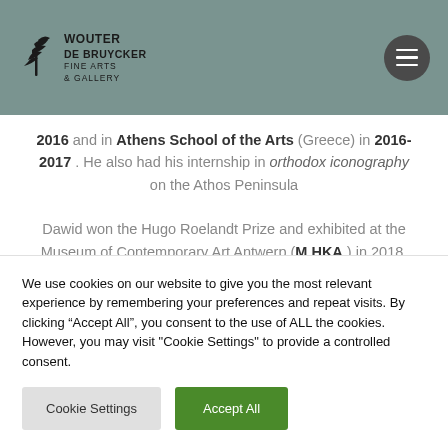Wouter De Bruycker Fine Arts & Gallery
2016 and in Athens School of the Arts (Greece) in 2016-2017 . He also had his internship in orthodox iconography on the Athos Peninsula
Dawid won the Hugo Roelandt Prize and exhibited at the Museum of Contemporary Art Antwerp (M HKA ) in 2018.
We use cookies on our website to give you the most relevant experience by remembering your preferences and repeat visits. By clicking “Accept All”, you consent to the use of ALL the cookies. However, you may visit "Cookie Settings" to provide a controlled consent.